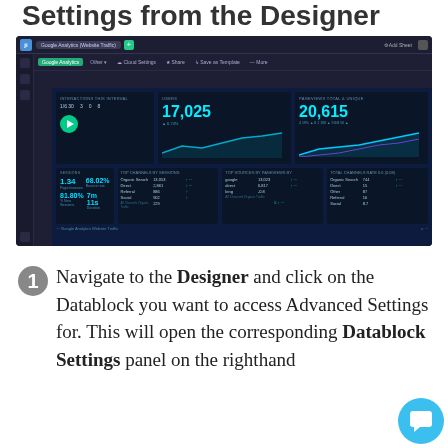Settings from the Designer
[Figure (screenshot): Dark-themed dashboard designer UI showing Google Analytics (Website Traffic) datablock with metrics: 17,025 and 20,615 values visible, along with stats like 1.34, 68.02%, 81.80%, 7m 11s and traffic-by-session and top-pages data tables]
1 Navigate to the Designer and click on the Datablock you want to access Advanced Settings for. This will open the corresponding Datablock Settings panel on the righthand